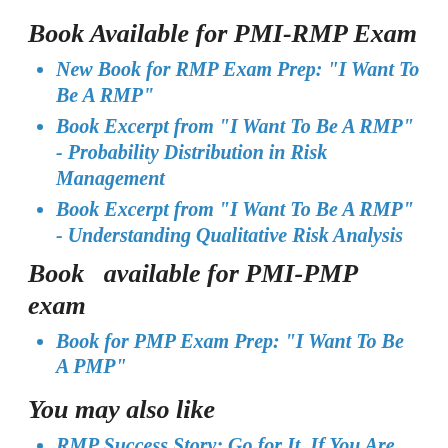Book Available for PMI-RMP Exam
New Book for RMP Exam Prep: "I Want To Be A RMP"
Book Excerpt from "I Want To Be A RMP" - Probability Distribution in Risk Management
Book Excerpt from "I Want To Be A RMP" - Understanding Qualitative Risk Analysis
Book  available for PMI-PMP exam
Book for PMP Exam Prep: "I Want To Be A PMP"
You may also like
RMP Success Story: Go for It, If You Are Actively Managing Risks in Your Projects
RMP Success Story: Go for It, and Enjoy The...